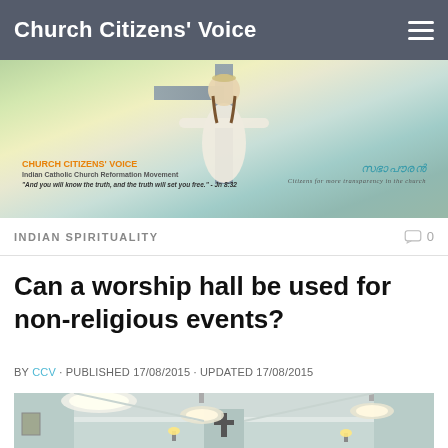Church Citizens' Voice
[Figure (illustration): Website banner with Jesus figure with arms outstretched on a cross, surrounded by clouds; text overlays include 'CHURCH CITIZENS VOICE' in orange and Malayalam/Syriac script in blue]
INDIAN SPIRITUALITY
Can a worship hall be used for non-religious events?
BY CCV · PUBLISHED 17/08/2015 · UPDATED 17/08/2015
[Figure (photo): Interior of a church worship hall showing ceiling lights, teal/green walls, and a cross on the wall]